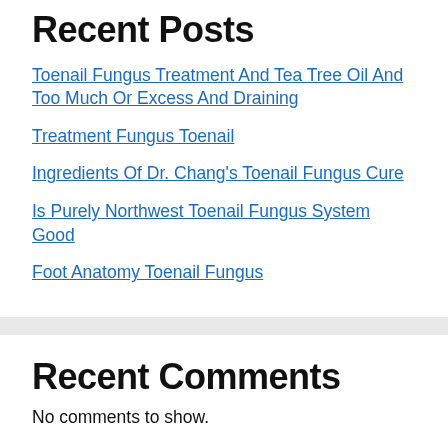Recent Posts
Toenail Fungus Treatment And Tea Tree Oil And Too Much Or Excess And Draining
Treatment Fungus Toenail
Ingredients Of Dr. Chang's Toenail Fungus Cure
Is Purely Northwest Toenail Fungus System Good
Foot Anatomy Toenail Fungus
Recent Comments
No comments to show.